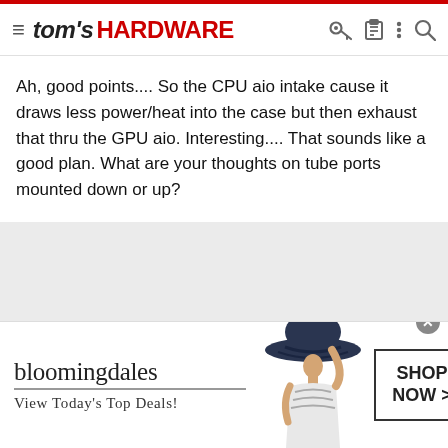tom's HARDWARE
Ah, good points.... So the CPU aio intake cause it draws less power/heat into the case but then exhaust that thru the GPU aio. Interesting.... That sounds like a good plan. What are your thoughts on tube ports mounted down or up?
[Figure (photo): Bloomingdales advertisement banner with woman wearing a wide-brim hat, logo text 'bloomingdales View Today's Top Deals!' and a 'SHOP NOW >' call-to-action button]